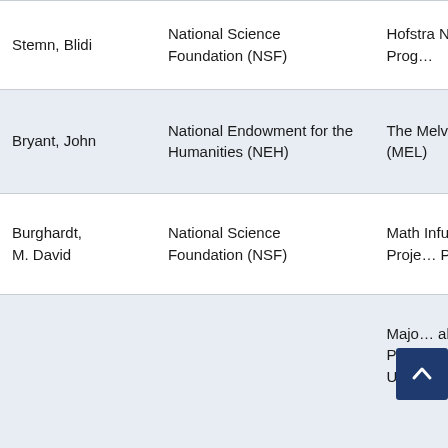| Name | Organization | Project |
| --- | --- | --- |
| Stemn, Blidi | National Science Foundation (NSF) | Hofstra Noyce Scholars Prog… |
| Bryant, John | National Endowment for the Humanities (NEH) | The Melville B… Library (MEL) |
| Burghardt, M. David | National Science Foundation (NSF) | Math Infusion… Science Proje… Phase II |
|  |  | Majo… abo… Proposal. Cre… Understandin… |